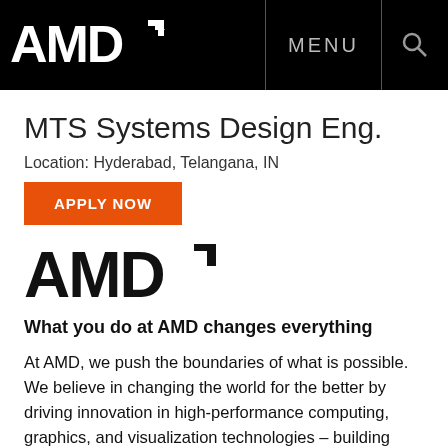AMD | MENU | Search
MTS Systems Design Eng.
Location: Hyderabad, Telangana, IN
APPLY NOW
[Figure (logo): AMD logo (black text, arrow mark)]
What you do at AMD changes everything
At AMD, we push the boundaries of what is possible. We believe in changing the world for the better by driving innovation in high-performance computing, graphics, and visualization technologies – building